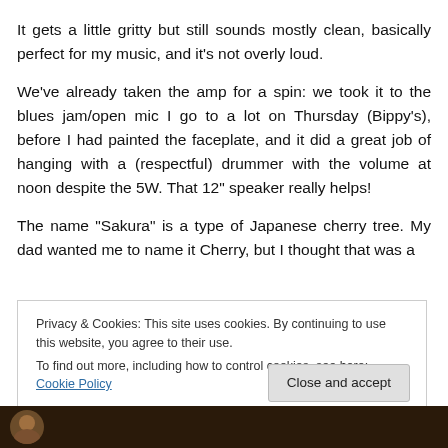It gets a little gritty but still sounds mostly clean, basically perfect for my music, and it’s not overly loud.
We’ve already taken the amp for a spin: we took it to the blues jam/open mic I go to a lot on Thursday (Bippy’s), before I had painted the faceplate, and it did a great job of hanging with a (respectful) drummer with the volume at noon despite the 5W. That 12” speaker really helps!
The name “Sakura” is a type of Japanese cherry tree. My dad wanted me to name it Cherry, but I thought that was a
Privacy & Cookies: This site uses cookies. By continuing to use this website, you agree to their use.
To find out more, including how to control cookies, see here: Cookie Policy
Close and accept
[Figure (photo): Dark background with partial circular profile image at bottom of page]